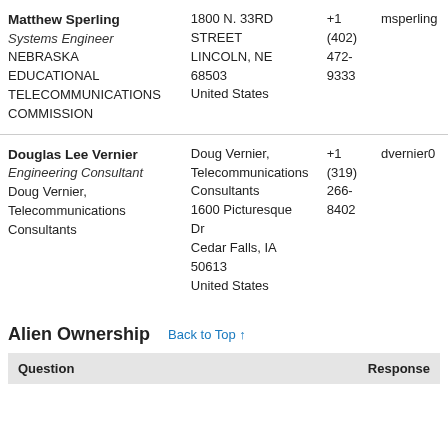| Name/Organization | Address | Phone | Email |
| --- | --- | --- | --- |
| Matthew Sperling
Systems Engineer
NEBRASKA EDUCATIONAL TELECOMMUNICATIONS COMMISSION | 1800 N. 33RD STREET
LINCOLN, NE 68503
United States | +1 (402) 472-9333 | msperling |
| Douglas Lee Vernier
Engineering Consultant
Doug Vernier, Telecommunications Consultants | Doug Vernier, Telecommunications Consultants
1600 Picturesque Dr
Cedar Falls, IA 50613
United States | +1 (319) 266-8402 | dvernier0 |
Alien Ownership
Back to Top ↑
| Question | Response |
| --- | --- |